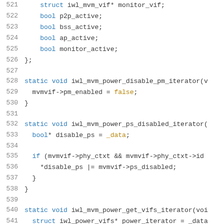521-541: C source code snippet showing struct and static void function definitions for iwl_mvm power management iterators